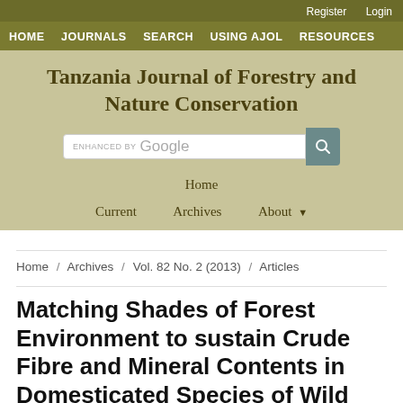Register  Login
HOME  JOURNALS  SEARCH  USING AJOL  RESOURCES
Tanzania Journal of Forestry and Nature Conservation
ENHANCED BY Google
Home
Current  Archives  About
Home / Archives / Vol. 82 No. 2 (2013) / Articles
Matching Shades of Forest Environment to sustain Crude Fibre and Mineral Contents in Domesticated Species of Wild